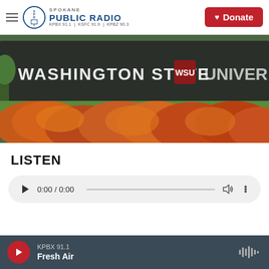Spokane Public Radio — KPBX 91.1 | KSFC 91.9 | KPBZ 90.3 — Donate
[Figure (photo): Washington State University entrance sign with orange and red foliage in the foreground and green grass/trees in the background]
LISTEN
[Figure (screenshot): Audio player widget showing 0:00 / 0:00 with play button, progress bar, volume and more controls]
KPBX 91.1 — Fresh Air